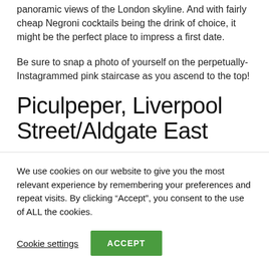panoramic views of the London skyline. And with fairly cheap Negroni cocktails being the drink of choice, it might be the perfect place to impress a first date.
Be sure to snap a photo of yourself on the perpetually-Instagrammed pink staircase as you ascend to the top!
Piculpeper, Liverpool Street/Aldgate East
We use cookies on our website to give you the most relevant experience by remembering your preferences and repeat visits. By clicking “Accept”, you consent to the use of ALL the cookies.
Cookie settings
ACCEPT